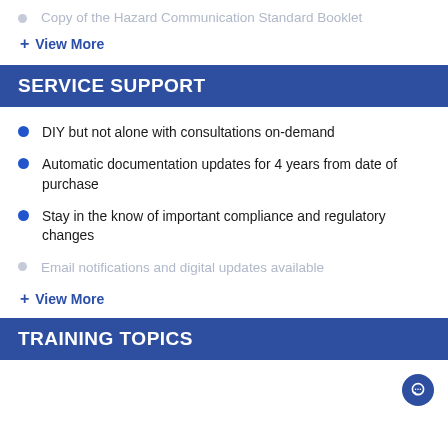Copy of the Hazard Communication Standard Booklet
+ View More
SERVICE SUPPORT
DIY but not alone with consultations on-demand
Automatic documentation updates for 4 years from date of purchase
Stay in the know of important compliance and regulatory changes
Email notifications and digital updates available
+ View More
TRAINING TOPICS